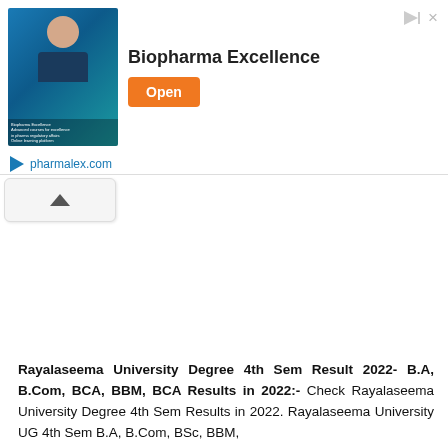[Figure (other): Advertisement banner for Biopharma Excellence from pharmalex.com with an Open button]
Rayalaseema University Degree 4th Sem Result 2022- B.A, B.Com, BCA, BBM, BCA Results in 2022:- Check Rayalaseema University Degree 4th Sem Results in 2022. Rayalaseema University UG 4th Sem B.A, B.Com, BSc, BBM,